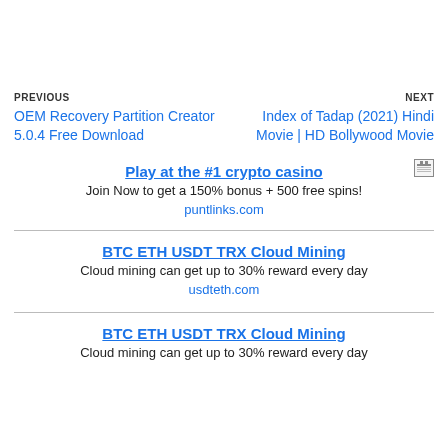PREVIOUS
OEM Recovery Partition Creator 5.0.4 Free Download
NEXT
Index of Tadap (2021) Hindi Movie | HD Bollywood Movie
[Figure (other): Small ad icon/badge]
Play at the #1 crypto casino
Join Now to get a 150% bonus + 500 free spins!
puntlinks.com
BTC ETH USDT TRX Cloud Mining
Cloud mining can get up to 30% reward every day
usdteth.com
BTC ETH USDT TRX Cloud Mining
Cloud mining can get up to 30% reward every day